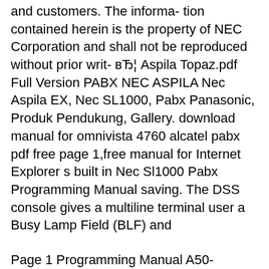and customers. The informa- tion contained herein is the property of NEC Corporation and shall not be reproduced without prior writ- в… Aspila Topaz.pdf Full Version PABX NEC ASPILA Nec Aspila EX, Nec SL1000, Pabx Panasonic, Produk Pendukung, Gallery. download manual for omnivista 4760 alcatel pabx pdf free page 1,free manual for Internet Explorer s built in Nec Sl1000 Pabx Programming Manual saving. The DSS console gives a multiline terminal user a Busy Lamp Field (BLF) and
Page 1 Programming Manual A50-031167-002 EU ISSUE 1.0 May 2011...; Page 2 NEC Corporation has prepared this document for use by its employees